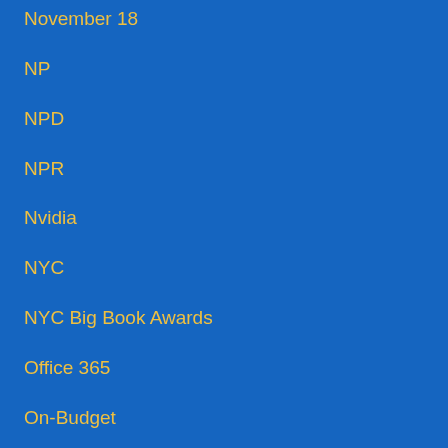November 18
NP
NPD
NPR
Nvidia
NYC
NYC Big Book Awards
Office 365
On-Budget
On-Budget f…